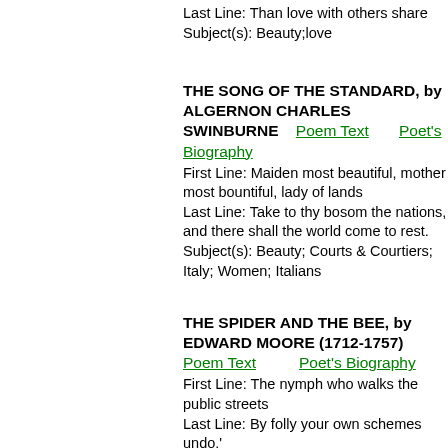Last Line: Than love with others share
Subject(s): Beauty;love
THE SONG OF THE STANDARD, by ALGERNON CHARLES SWINBURNE
Poem Text   Poet's Biography
First Line: Maiden most beautiful, mother most bountiful, lady of lands
Last Line: Take to thy bosom the nations, and there shall the world come to rest.
Subject(s): Beauty; Courts & Courtiers; Italy; Women; Italians
THE SPIDER AND THE BEE, by EDWARD MOORE (1712-1757)
Poem Text   Poet's Biography
First Line: The nymph who walks the public streets
Last Line: By folly your own schemes undo.'
Subject(s): Beauty; Bees; Charm; Desire; Insects; Spiders; Women; Beekeeping; B